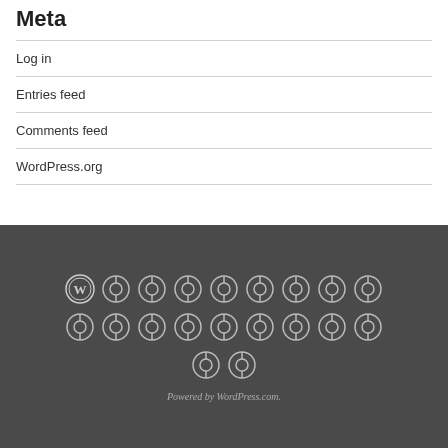Meta
Log in
Entries feed
Comments feed
WordPress.org
[Figure (logo): WordPress logo and repeated plugin/theme icons grid on dark gray background]
Powered by WordPress.com.